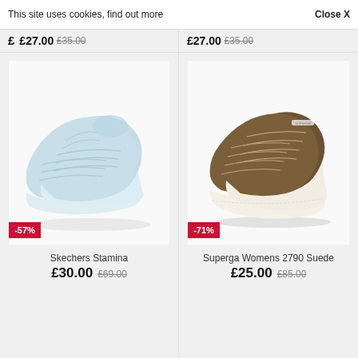This site uses cookies, find out more
Close X
[Figure (photo): Light blue Skechers Stamina chunky sneakers, pair shown from side angle on white background with -57% discount badge]
Skechers Stamina
£30.00  £69.00
[Figure (photo): Olive/dark khaki suede Superga Womens 2790 Suede platform sneakers, pair shown on cream sole, white background with -71% discount badge]
Superga Womens 2790 Suede
£25.00  £85.00
[Figure (photo): Partial view of pink/salmon colored sandals, bottom portion visible, cropped by page edge]